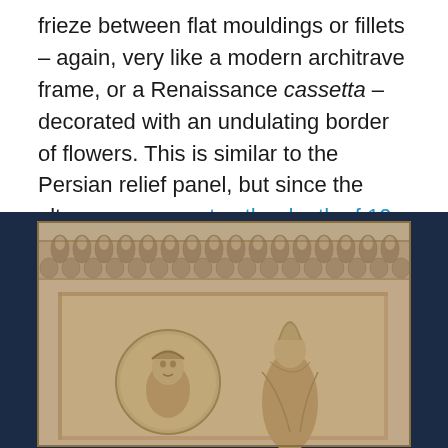frieze between flat mouldings or fillets – again, very like a modern architrave frame, or a Renaissance cassetta – decorated with an undulating border of flowers. This is similar to the Persian relief panel, but since the altar commemorates the death of 10 year-old girl the flowers are botanically accurate spring flowers, including anemones, violets and fruit blossom, which stand for renewal as well as mourning the loss of a child in the spring of her life.
[Figure (photo): Photograph of an ancient stone relief/altar with decorative egg-and-dart or leaf moulding frieze at the top, and carved figural relief below showing two figures (one in a circular medallion, one standing), set against a dark navy blue background.]